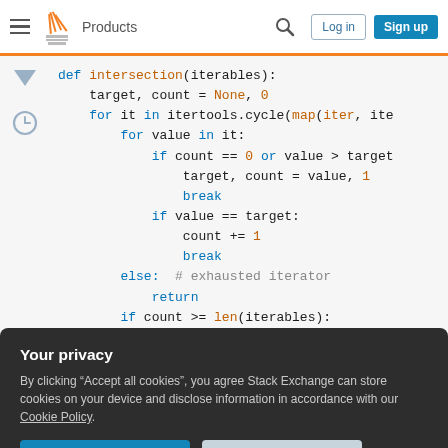Stack Overflow navigation: hamburger menu, logo, Products, search, Log in, Sign up
[Figure (screenshot): Python code snippet showing an intersection function with syntax highlighting. Keywords in blue, function names and numbers in orange. Code shows: def intersection(iterables): target, count = None, 0; for it in itertools.cycle(map(iter, ite...; for value in it:; if count == 0 or value > target; target, count = value, 1; break; if value == target:; count += 1; break; else: # exhausted iterator; return; if count >= len(iterables):; yield target; count = 0]
Your privacy
By clicking "Accept all cookies", you agree Stack Exchange can store cookies on your device and disclose information in accordance with our Cookie Policy.
Accept all cookies
Customize settings
in practice, which would be O(n*m) per call and linear in the worst case, where the intersection...